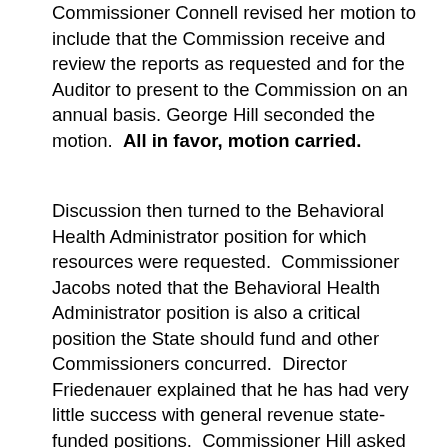Commissioner Connell revised her motion to include that the Commission receive and review the reports as requested and for the Auditor to present to the Commission on an annual basis. George Hill seconded the motion.  All in favor, motion carried.
Discussion then turned to the Behavioral Health Administrator position for which resources were requested.  Commissioner Jacobs noted that the Behavioral Health Administrator position is also a critical position the State should fund and other Commissioners concurred.  Director Friedenauer explained that he has had very little success with general revenue state-funded positions.  Commissioner Hill asked about efforts to close outdated and/or inappropriate facilities which cannot adequately house youth.  Director Friedenauer stated that facilities will not close until a better option is available to house the